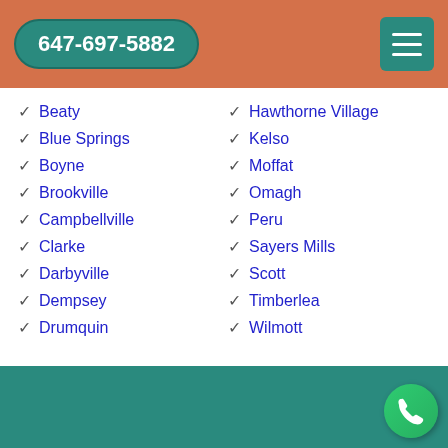647-697-5882
Beaty
Blue Springs
Boyne
Brookville
Campbellville
Clarke
Darbyville
Dempsey
Drumquin
Hawthorne Village
Kelso
Moffat
Omagh
Peru
Sayers Mills
Scott
Timberlea
Wilmott